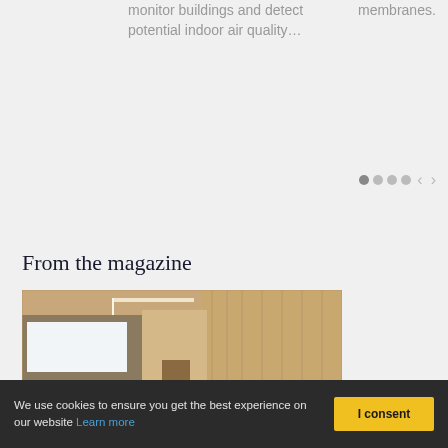monitor buildings and detect potential indoor air quality…
membranes.
[Figure (infographic): Navigation dots (4 circles) and previous/next arrow controls]
From the magazine
[Figure (photo): Interior of a wooden building with natural wood walls, ceiling panels, and windows letting in natural light. A reception desk or counter is visible in the foreground.]
We use cookies to ensure you get the best experience on our website Learn more
I consent